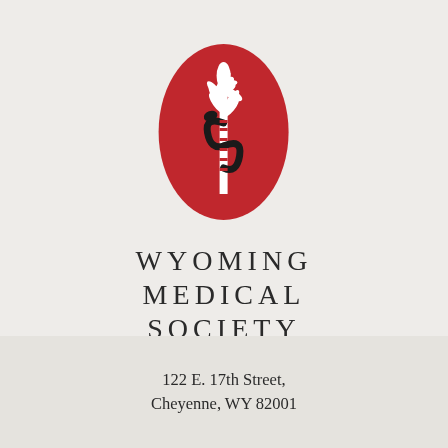[Figure (logo): Wyoming Medical Society logo: red oval with white caduceus/rod of Asclepius symbol (snake coiled around a staff topped with a leaf/frond), in white on red background]
WYOMING MEDICAL SOCIETY
[Figure (logo): Three social media icons: Facebook, Twitter, LinkedIn, rendered in gray]
122 E. 17th Street, Cheyenne, WY 82001